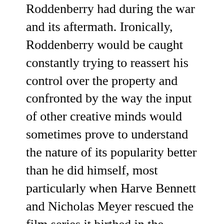Roddenberry had during the war and its aftermath. Ironically, Roddenberry would be caught constantly trying to reassert his control over the property and confronted by the way the input of other creative minds would sometimes prove to understand the nature of its popularity better than he did himself, most particularly when Harve Bennett and Nicholas Meyer rescued the film series it birthed in the 1980s. Roddenberry's thorough steeping in the kinds of character relations and story basics familiar in TV thoroughly permeated Star Trek, in the panoply of ethnic and job title archetypes, the thematic and narrative similarities to the Westerns he'd worked on, and